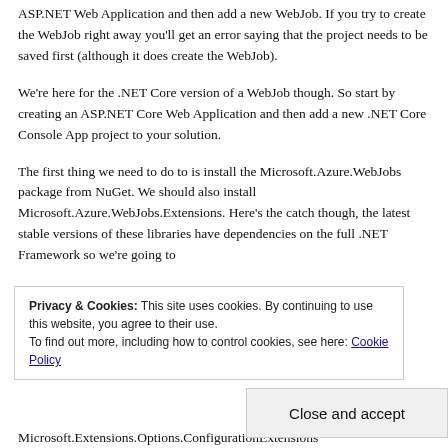ASP.NET Web Application and then add a new WebJob. If you try to create the WebJob right away you'll get an error saying that the project needs to be saved first (although it does create the WebJob).
We're here for the .NET Core version of a WebJob though. So start by creating an ASP.NET Core Web Application and then add a new .NET Core Console App project to your solution.
The first thing we need to do to is install the Microsoft.Azure.WebJobs package from NuGet. We should also install Microsoft.Azure.WebJobs.Extensions. Here's the catch though, the latest stable versions of these libraries have dependencies on the full .NET Framework so we're going to need to use pre-release versions. So search for the package in NuGet and check the "Include prerelease" checkbox.
Privacy & Cookies: This site uses cookies. By continuing to use this website, you agree to their use.
To find out more, including how to control cookies, see here: Cookie Policy
Close and accept
Microsoft.Extensions.Options.ConfigurationExtensions